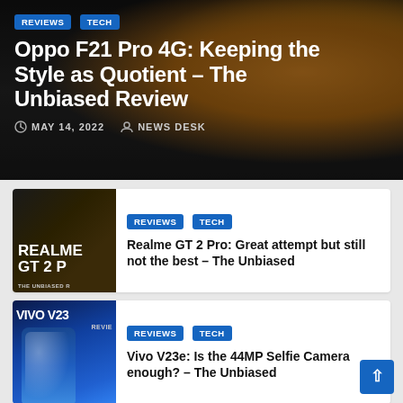[Figure (photo): Hero image of Oppo F21 Pro 4G smartphone in golden/amber color with dark background]
REVIEWS
TECH
Oppo F21 Pro 4G: Keeping the Style as Quotient – The Unbiased Review
MAY 14, 2022   NEWS DESK
[Figure (photo): Thumbnail of Realme GT 2 Pro review article]
REVIEWS
TECH
Realme GT 2 Pro: Great attempt but still not the best – The Unbiased
[Figure (photo): Thumbnail of Vivo V23e review article showing blue smartphone]
REVIEWS
TECH
Vivo V23e: Is the 44MP Selfie Camera enough? – The Unbiased